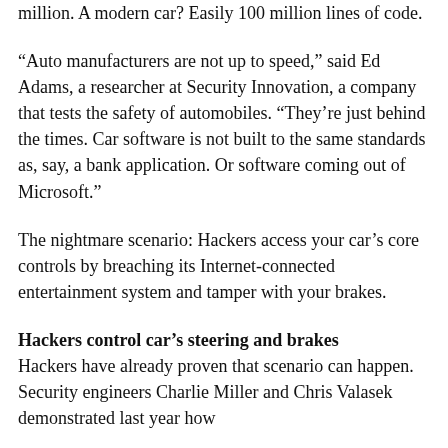million. A modern car? Easily 100 million lines of code.
“Auto manufacturers are not up to speed,” said Ed Adams, a researcher at Security Innovation, a company that tests the safety of automobiles. “They're just behind the times. Car software is not built to the same standards as, say, a bank application. Or software coming out of Microsoft.”
The nightmare scenario: Hackers access your car’s core controls by breaching its Internet-connected entertainment system and tamper with your brakes.
Hackers control car’s steering and brakes
Hackers have already proven that scenario can happen. Security engineers Charlie Miller and Chris Valasek demonstrated last year how